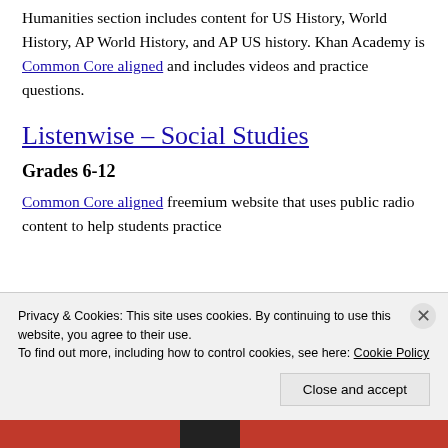Humanities section includes content for US History, World History, AP World History, and AP US history. Khan Academy is Common Core aligned and includes videos and practice questions.
Listenwise – Social Studies
Grades 6-12
Common Core aligned freemium website that uses public radio content to help students practice
Privacy & Cookies: This site uses cookies. By continuing to use this website, you agree to their use.
To find out more, including how to control cookies, see here: Cookie Policy